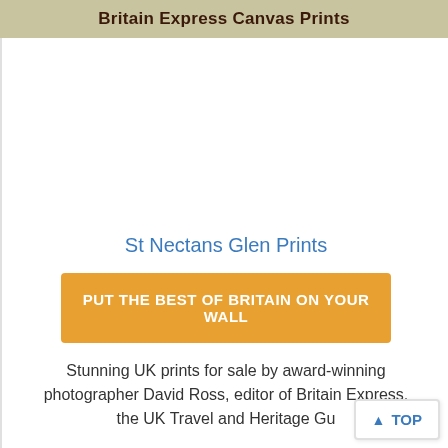Britain Express Canvas Prints
[Figure (photo): White/blank image area for St Nectans Glen print]
St Nectans Glen Prints
PUT THE BEST OF BRITAIN ON YOUR WALL
Stunning UK prints for sale by award-winning photographer David Ross, editor of Britain Express, the UK Travel and Heritage Gu…